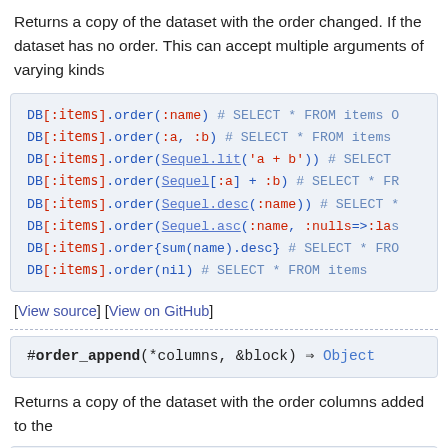Returns a copy of the dataset with the order changed. If the dataset has no order. This can accept multiple arguments of varying kinds
[Figure (screenshot): Code block showing DB[:items].order examples with syntax highlighting]
[View source] [View on GitHub]
[Figure (screenshot): Method signature: #order_append(*columns, &block) => Object]
Returns a copy of the dataset with the order columns added to the
[Figure (screenshot): Code block showing DB[:items].order(:a).order(:b) and DB[:items].order(:a).order_append(:b) examples]